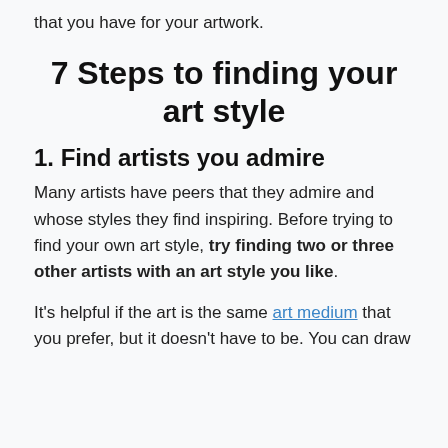that you have for your artwork.
7 Steps to finding your art style
1. Find artists you admire
Many artists have peers that they admire and whose styles they find inspiring. Before trying to find your own art style, try finding two or three other artists with an art style you like.
It's helpful if the art is the same art medium that you prefer, but it doesn't have to be. You can draw